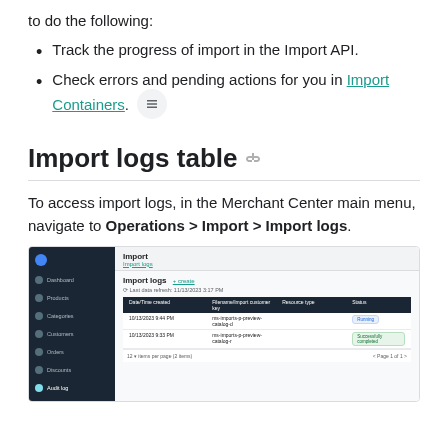to do the following:
Track the progress of import in the Import API.
Check errors and pending actions for you in Import Containers.
Import logs table
To access import logs, in the Merchant Center main menu, navigate to Operations > Import > Import logs.
[Figure (screenshot): Screenshot of the Merchant Center Import logs table showing a sidebar navigation and a table with columns: Date/Time created, Filename/Import customer key, Resource type, Status. Two rows are visible with statuses 'Running' and 'Successfully completed'.]